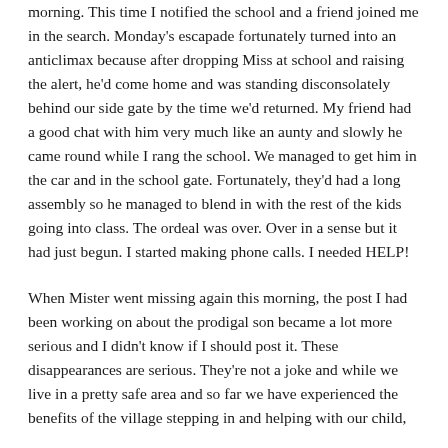morning. This time I notified the school and a friend joined me in the search. Monday's escapade fortunately turned into an anticlimax because after dropping Miss at school and raising the alert, he'd come home and was standing disconsolately behind our side gate by the time we'd returned. My friend had a good chat with him very much like an aunty and slowly he came round while I rang the school. We managed to get him in the car and in the school gate. Fortunately, they'd had a long assembly so he managed to blend in with the rest of the kids going into class. The ordeal was over. Over in a sense but it had just begun. I started making phone calls. I needed HELP!
When Mister went missing again this morning, the post I had been working on about the prodigal son became a lot more serious and I didn't know if I should post it. These disappearances are serious. They're not a joke and while we live in a pretty safe area and so far we have experienced the benefits of the village stepping in and helping with our child,